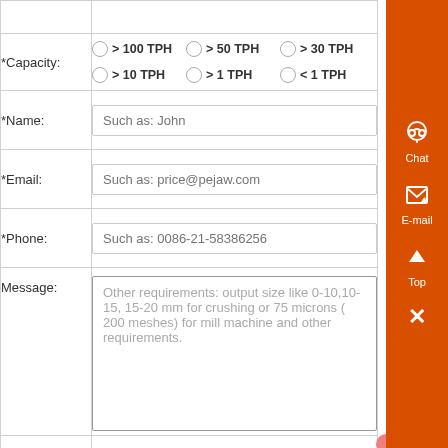|  |  |
| *Capacity: | > 100 TPH  > 50 TPH  > 30 TPH  > 10 TPH  > 1 TPH  < 1 TPH |
| *Name: | Such as: John |
| *Email: | Such as: price@pejaw.com |
| *Phone: | Such as: 0086-21-58386256 |
| Message: | Other requirements: output size like 0-10,10-15, 15-20 mm for crushing or 75 microns ( 200 meshes) for mill machine and other requirements. |
|  | Submit |
[Figure (infographic): Orange vertical sidebar with Chat (headset icon), E-mail (notepad icon), Top (arrow icon), and X close button]